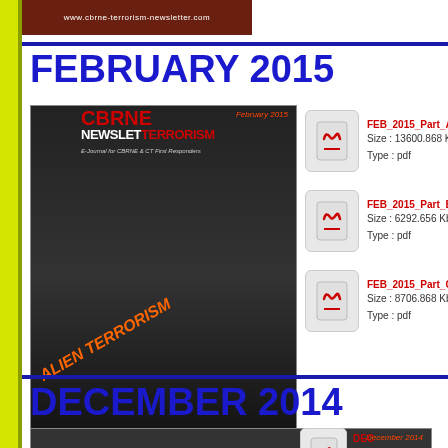[Figure (photo): CBRNE Terrorism Newsletter website banner strip at top]
FEBRUARY 2015
[Figure (photo): CBRNE Newslet Terrorism newsletter cover for February 2015, themed Alien Terrorism]
FEB_2015_Part_A
Size : 13600.868 K
Type : pdf
FEB_2015_Part_B
Size : 6292.656 Kb
Type : pdf
FEB_2015_Part_C
Size : 8706.868 Kb
Type : pdf
DECEMBER 2014
[Figure (photo): CBRNE Newslet Terrorism newsletter cover for December 2014]
DEC
Size
Type